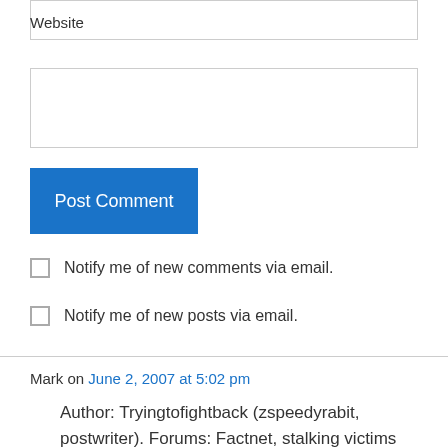Website
Post Comment
Notify me of new comments via email.
Notify me of new posts via email.
Mark on June 2, 2007 at 5:02 pm
Author: Tryingtofightback (zspeedyrabit, postwriter). Forums: Factnet, stalking victims sanctuary, labor law talk, theology forums.